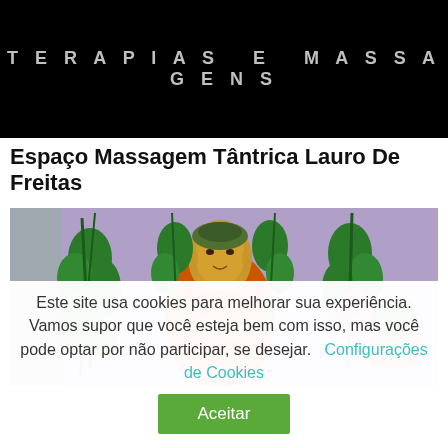[Figure (photo): Black banner with text 'TERAPIAS E MASSAGENS' in light gray uppercase spaced letters on black background]
Espaço Massagem Tântrica Lauro De Freitas
[Figure (photo): Painting or illustration of a Buddha figure in red/orange robes seated, surrounded by green plants/vines on a purple background, with flowers and a decorative pot to the right]
Este site usa cookies para melhorar sua experiência. Vamos supor que você esteja bem com isso, mas você pode optar por não participar, se desejar.    Configurações de Cookies
Aceitar